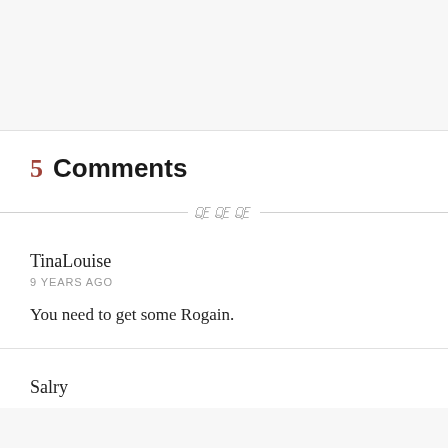5 Comments
TinaLouise
9 YEARS AGO
You need to get some Rogain.
Salry